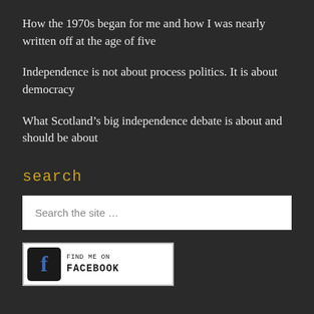How the 1970s began for me and how I was nearly written off at the age of five
Independence is not about process politics. It is about democracy
What Scotland’s big independence debate is about and should be about
search
Search the site …
[Figure (illustration): Find me on Facebook badge with Facebook 'f' logo icon on dark background and handwritten-style text saying FIND ME ON FACEBOOK]